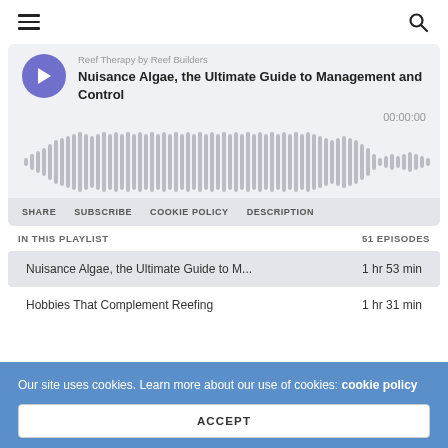≡  🔍
[Figure (screenshot): Podcast player card with purple play button, episode title 'Nuisance Algae, the Ultimate Guide to Management and Control', waveform visualization showing audio waveform bars, timestamp 00:00:00, and action buttons: SHARE SUBSCRIBE COOKIE POLICY DESCRIPTION]
IN THIS PLAYLIST    51 EPISODES
Nuisance Algae, the Ultimate Guide to M...    1 hr 53 min
Hobbies That Complement Reefing    1 hr 31 min
Our site uses cookies. Learn more about our use of cookies: cookie policy
ACCEPT